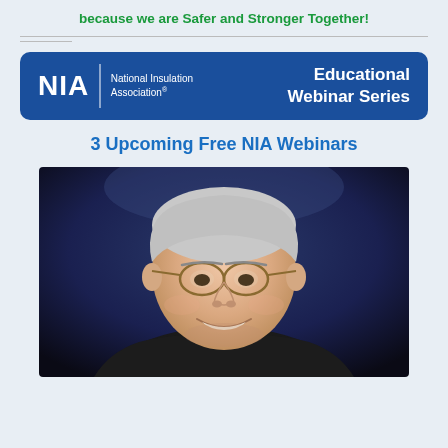because we are Safer and Stronger Together!
[Figure (logo): NIA National Insulation Association Educational Webinar Series banner on blue rounded rectangle background]
3 Upcoming Free NIA Webinars
[Figure (photo): Portrait photo of an older gentleman with glasses, gray hair, smiling, against a dark blue background]